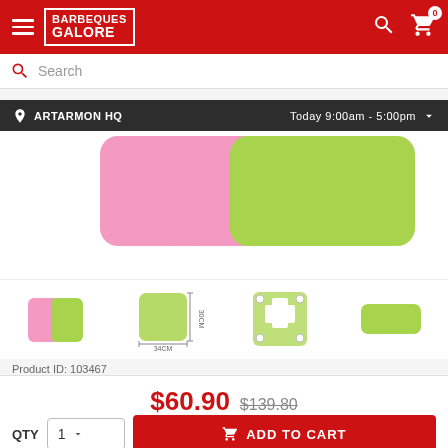[Figure (logo): Barbeques Galore logo with navigation header on red background]
Search
ARTARMON HQ   Today 9:00am - 5:00pm
[Figure (photo): Pink and green cutting boards or similar kitchen accessories, shown from above with soft shadows]
[Figure (photo): Thumbnail strip showing four product images: pink and green boards, board with dimensions, cross-shaped mount bracket, and single green board]
Product ID: 103467
$60.90  $139.80
QTY  1   ADD TO CART